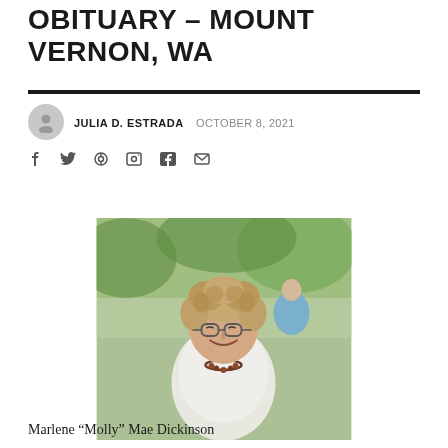OBITUARY – MOUNT VERNON, WA
JULIA D. ESTRADA  OCTOBER 8, 2021
[Figure (photo): Portrait photo of Marlene 'Molly' Mae Dickinson, an elderly woman with short curly hair wearing glasses, a white top, and a beaded necklace, smiling outdoors with green foliage in background]
Marlene “Molly” Mae Dickinson